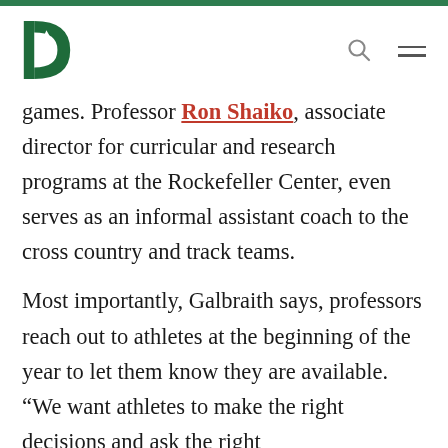Dartmouth College header with logo, search, and menu icons
games. Professor Ron Shaiko, associate director for curricular and research programs at the Rockefeller Center, even serves as an informal assistant coach to the cross country and track teams.
Most importantly, Galbraith says, professors reach out to athletes at the beginning of the year to let them know they are available. “We want athletes to make the right decisions and ask the right